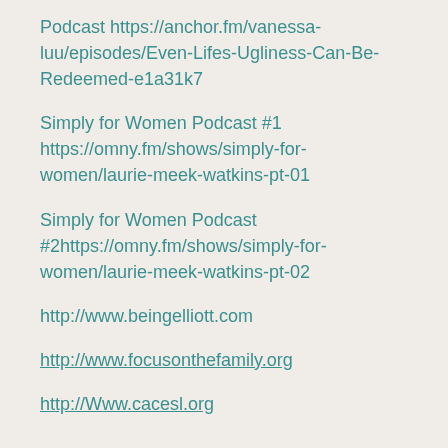Podcast https://anchor.fm/vanessa-luu/episodes/Even-Lifes-Ugliness-Can-Be-Redeemed-e1a31k7
Simply for Women Podcast #1 https://omny.fm/shows/simply-for-women/laurie-meek-watkins-pt-01
Simply for Women Podcast #2https://omny.fm/shows/simply-for-women/laurie-meek-watkins-pt-02
http://www.beingelliott.com
http://www.focusonthefamily.org
http://Www.cacesl.org